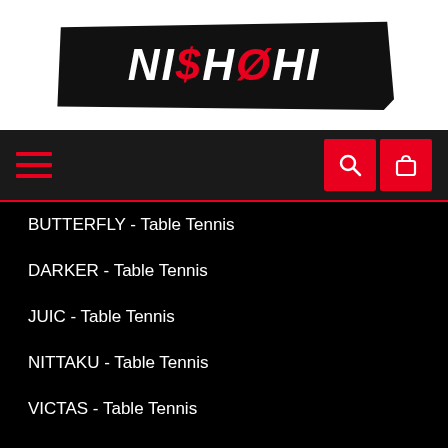[Figure (logo): NI$HOHI logo in white italic bold text on a black brushstroke background, with $ and O in red]
[Figure (screenshot): Navigation bar with red hamburger menu icon on left and two red square icon buttons (search and shopping bag) on right, on dark background]
BUTTERFLY - Table Tennis
DARKER - Table Tennis
JUIC - Table Tennis
NITTAKU - Table Tennis
VICTAS - Table Tennis
YASAKA - Table Tennis
ANY QUESTIONS? CONTACT US
FAQ
Contact Us
Return & Exchange Policy
Shipping & Delivery Policy
[Figure (screenshot): Chat popup bubble saying 'We're offline / Leave a message' with a red round chat button on the right]